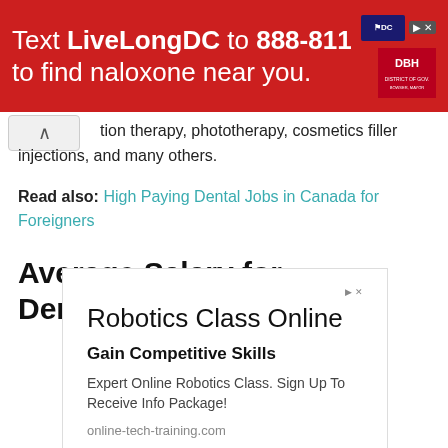[Figure (other): Red banner advertisement: Text LiveLongDC to 888-811 to find naloxone near you. DC government logos on the right.]
tion therapy, phototherapy, cosmetics filler injections, and many others.
Read also: High Paying Dental Jobs in Canada for Foreigners
Average Salary for Dermatologist
[Figure (other): Advertisement box: Robotics Class Online. Gain Competitive Skills. Expert Online Robotics Class. Sign Up To Receive Info Package! online-tech-training.com]